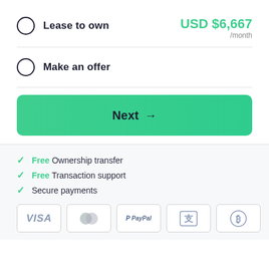Lease to own  USD $6,667 /month
Make an offer
Next →
✓ Free Ownership transfer
✓ Free Transaction support
✓ Secure payments
[Figure (other): Payment method icons: VISA, Mastercard, PayPal, Alipay, Bitcoin]